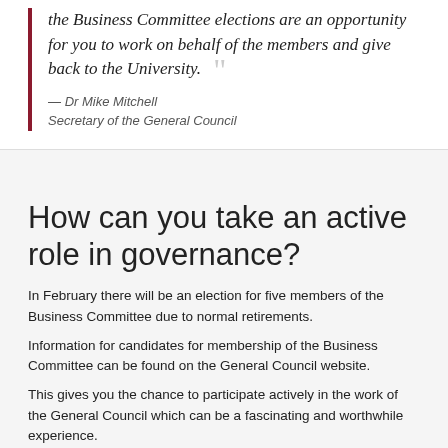the Business Committee elections are an opportunity for you to work on behalf of the members and give back to the University.
— Dr Mike Mitchell
Secretary of the General Council
How can you take an active role in governance?
In February there will be an election for five members of the Business Committee due to normal retirements.
Information for candidates for membership of the Business Committee can be found on the General Council website.
This gives you the chance to participate actively in the work of the General Council which can be a fascinating and worthwhile experience.
Last year we had a fantastic list of candidates from a wide range of backgrounds and experience and we really want to maintain this level of interest.